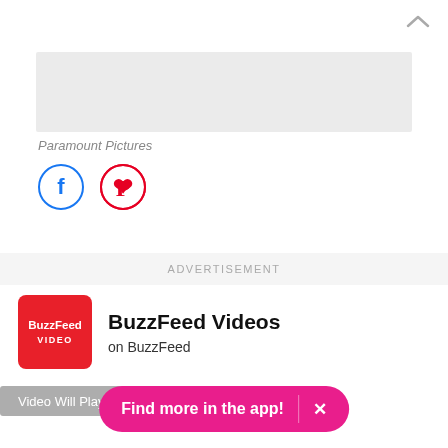[Figure (illustration): Upward-pointing chevron icon in top right corner]
[Figure (illustration): Gray placeholder rectangle representing an image from Paramount Pictures]
Paramount Pictures
[Figure (illustration): Facebook and Pinterest social sharing icon circles]
ADVERTISEMENT
[Figure (logo): BuzzFeed Video red logo square]
BuzzFeed Videos
on BuzzFeed
Video Will Play After Ad
Find more in the app!